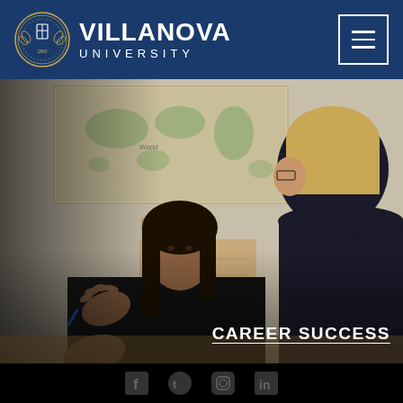Villanova University
[Figure (photo): Two women in professional attire sitting across from each other at a table having a discussion. A world map is visible on the wall in the background. One woman with dark hair is gesturing with her hands while talking; the other woman with blonde hair and glasses is listening, viewed from behind.]
CAREER SUCCESS
Social media icons row